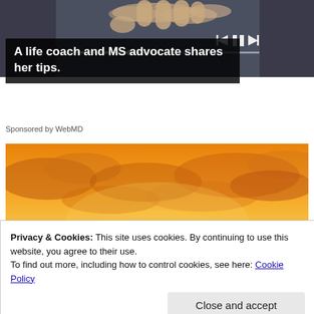[Figure (photo): Top section showing hands near media player controls on a dark background with playback buttons]
A life coach and MS advocate shares her tips.
Sponsored by WebMD
[Figure (photo): A silhouette of a person viewed from behind against a dramatic orange and yellow sunset sky with clouds]
Privacy & Cookies: This site uses cookies. By continuing to use this website, you agree to their use.
To find out more, including how to control cookies, see here: Cookie Policy
Close and accept
life after a diagnosis with psoriatic